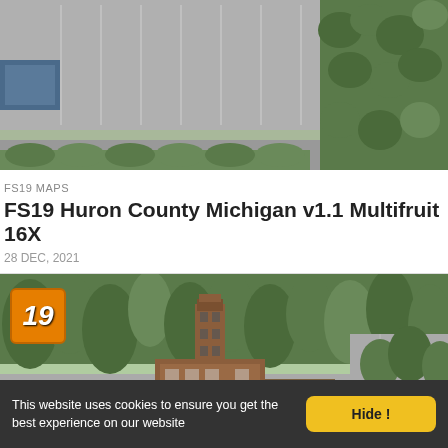[Figure (screenshot): Aerial/top-down screenshot of a Farming Simulator 19 map showing a parking lot and trees, top portion]
FS19 MAPS
FS19 Huron County Michigan v1.1 Multifruit 16X
28 DEC, 2021
[Figure (screenshot): Aerial screenshot of FS19 Huron County Michigan map showing a brick tower building, trees, parking lot, paths, with FS19 badge logo overlay in top-left]
This website uses cookies to ensure you get the best experience on our website